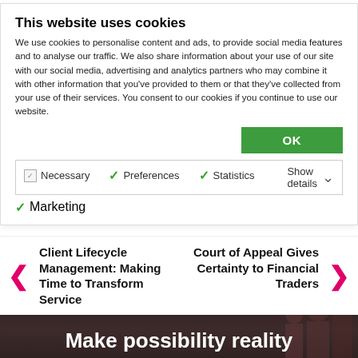longer possible, it has become mission-critical to transform the vision of the 360 degree client view into reality, through centralisation, personalisation partners, and access ahead of client interaction, for their personal partners, and success ahead
This website uses cookies
We use cookies to personalise content and ads, to provide social media features and to analyse our traffic. We also share information about your use of our site with our social media, advertising and analytics partners who may combine it with other information that you've provided to them or that they've collected from your use of their services. You consent to our cookies if you continue to use our website.
OK
Necessary  Preferences  Statistics  Marketing  Show details
Previous   Next
Client Lifecycle Management: Making Time to Transform Service
Court of Appeal Gives Certainty to Financial Traders
Make possibility reality